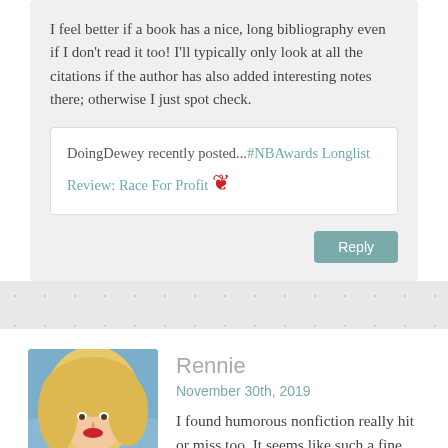I feel better if a book has a nice, long bibliography even if I don't read it too! I'll typically only look at all the citations if the author has also added interesting notes there; otherwise I just spot check.
DoingDewey recently posted...#NBAwards Longlist Review: Race For Profit
Reply
Rennie
November 30th, 2019
[Figure (photo): Profile photo of a blonde woman with red lipstick against a blue background]
I found humorous nonfiction really hit or miss too. It seems like such a fine line between what you find funny and something that's grating. And I totally agree that an author able to tell a story regardless of topic makes such a big difference in how you feel about a